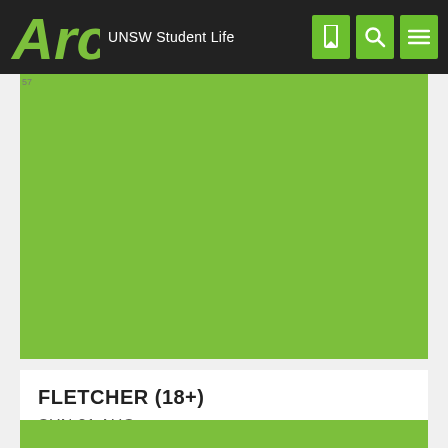Arc UNSW Student Life
[Figure (illustration): Large green rectangular image area for FLETCHER event]
FLETCHER (18+)
SUN 21 AUG
FLETCHER kicks off her AUS/NZ tour at Roundy!
READ MORE
[Figure (illustration): Bottom green strip beginning of next card]